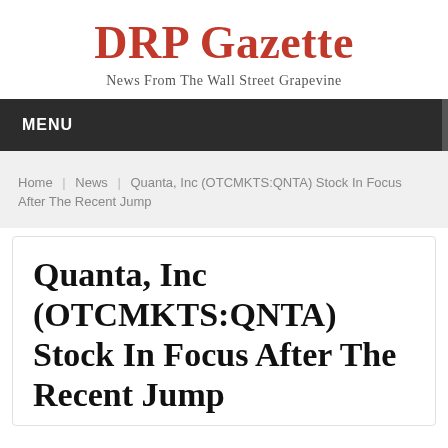DRP Gazette
News From The Wall Street Grapevine
MENU
Home | News | Quanta, Inc (OTCMKTS:QNTA) Stock In Focus After The Recent Jump
Quanta, Inc (OTCMKTS:QNTA) Stock In Focus After The Recent Jump